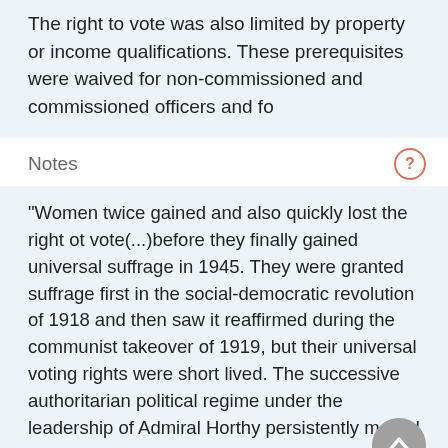The right to vote was also limited by property or income qualifications. These prerequisites were waived for non-commissioned and commissioned officers and fo
Notes
"Women twice gained and also quickly lost the right ot vote(...)before they finally gained universal suffrage in 1945. They were granted suffrage first in the social-democratic revolution of 1918 and then saw it reaffirmed during the communist takeover of 1919, but their universal voting rights were short lived. The successive authoritarian political regime under the leadership of Admiral Horthy persistently moved to eradicate signs of the immediate past and, consequently, passed laws that severely restricted women's right to stand as political candidates, vote and have acess to university education" (from, Katalin Fabian; "Making an Appearance: the Formation of Women's Groups